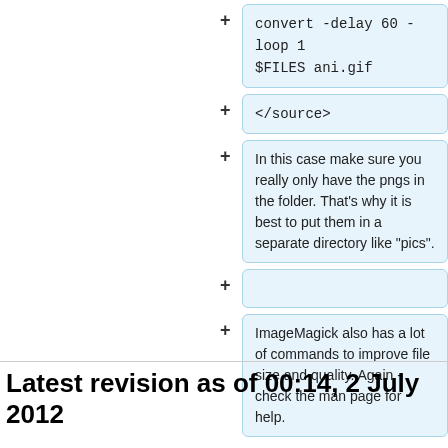convert  -delay 60 -loop 1 $FILES  ani.gif
</source>
In this case make sure you really only have the pngs in the folder. That's why it is best to put them in a separate directory like "pics".
ImageMagick also has a lot of commands to improve file size and quality. Again - check the man page for help.
Latest revision as of 00:14, 2 July 2012